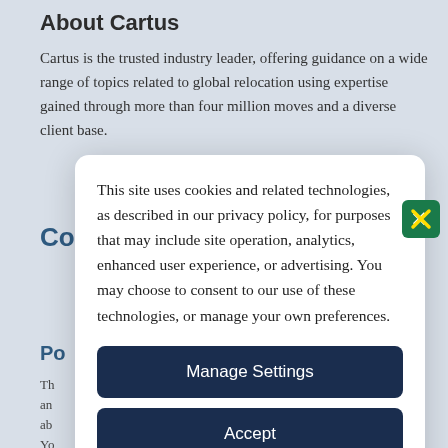About Cartus
Cartus is the trusted industry leader, offering guidance on a wide range of topics related to global relocation using expertise gained through more than four million moves and a diverse client base.
This site uses cookies and related technologies, as described in our privacy policy, for purposes that may include site operation, analytics, enhanced user experience, or advertising. You may choose to consent to our use of these technologies, or manage your own preferences.
Manage Settings
Accept
Decline All